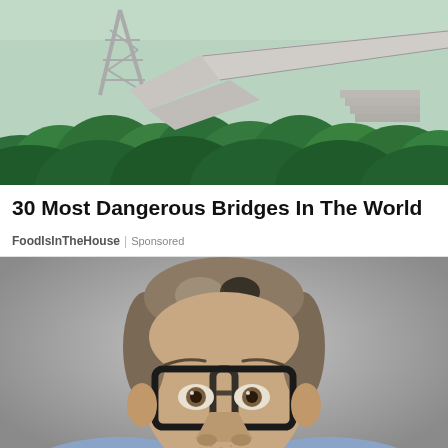[Figure (photo): Aerial view of a modern suspension/truss pedestrian bridge over dense green forest canopy]
30 Most Dangerous Bridges In The World
FoodIsInTheHouse | Sponsored
[Figure (photo): Portrait of a middle-aged man with short grey-brown hair, wearing thick black-rimmed glasses and a light blue blazer, against a grey background]